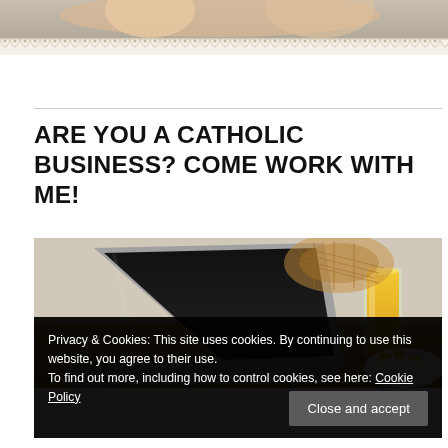[Figure (photo): Top banner showing a woman lying down, decorative lace border at bottom]
ARE YOU A CATHOLIC BUSINESS? COME WORK WITH ME!
[Figure (photo): Photo of an open laptop on a table next to a glass of orange juice and a breakfast plate]
Privacy & Cookies: This site uses cookies. By continuing to use this website, you agree to their use.
To find out more, including how to control cookies, see here: Cookie Policy
Close and accept